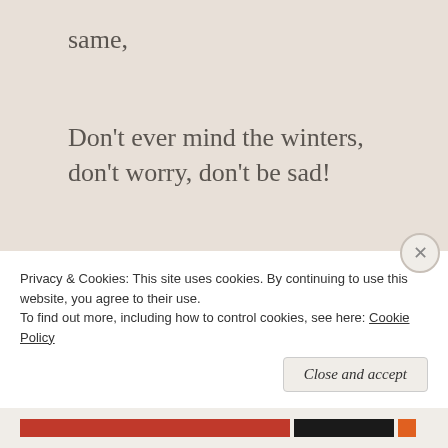same,
Don't ever mind the winters, don't worry, don't be sad!
But if the doors don't open we'll still enjoy the game
And hold our hands, my darling, before the
Privacy & Cookies: This site uses cookies. By continuing to use this website, you agree to their use.
To find out more, including how to control cookies, see here: Cookie Policy
Close and accept